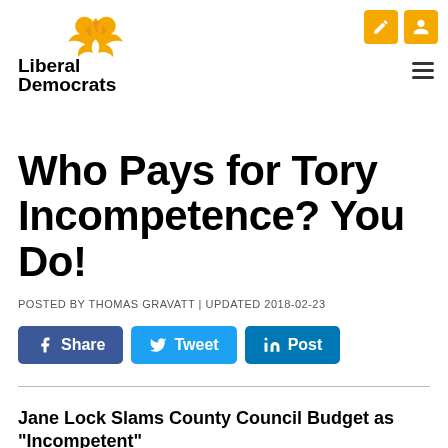[Figure (logo): Liberal Democrats logo: yellow bird emblem next to 'Liberal Democrats' text in black bold font]
Who Pays for Tory Incompetence? You Do!
POSTED BY THOMAS GRAVATT | UPDATED 2018-02-23
[Figure (infographic): Three social share buttons: Facebook Share (blue), Twitter Tweet (light blue), LinkedIn Post (dark blue)]
Jane Lock Slams County Council Budget as "Incompetent"